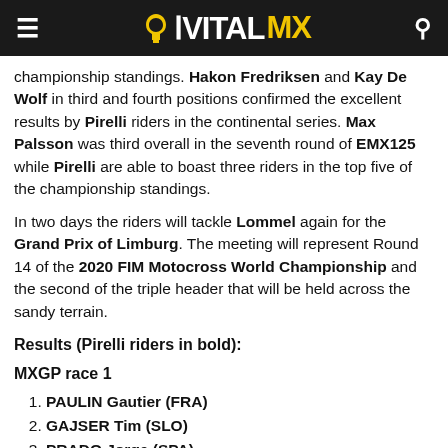VITALMX
championship standings. Hakon Fredriksen and Kay De Wolf in third and fourth positions confirmed the excellent results by Pirelli riders in the continental series. Max Palsson was third overall in the seventh round of EMX125 while Pirelli are able to boast three riders in the top five of the championship standings.
In two days the riders will tackle Lommel again for the Grand Prix of Limburg. The meeting will represent Round 14 of the 2020 FIM Motocross World Championship and the second of the triple header that will be held across the sandy terrain.
Results (Pirelli riders in bold):
MXGP race 1
PAULIN Gautier (FRA)
GAJSER Tim (SLO)
PRADO Jorge (SPA)
BOGERS Brian (NED)
VAN HOREBEEK Jeremy (BEL)